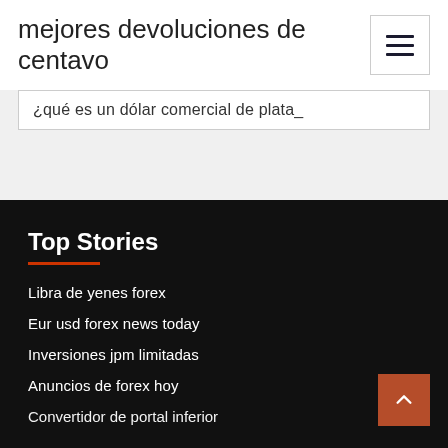mejores devoluciones de centavo
¿qué es un dólar comercial de plata_
Top Stories
Libra de yenes forex
Eur usd forex news today
Inversiones jpm limitadas
Anuncios de forex hoy
Convertidor de portal inferior